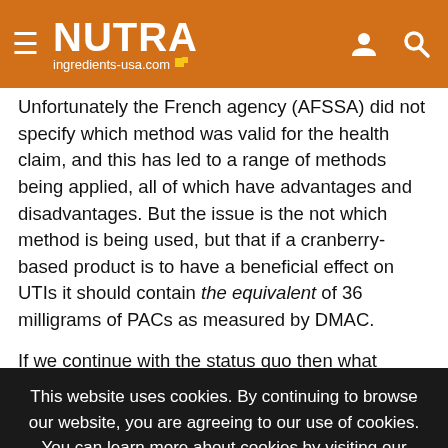NUTRA ingredients-usa.com
Unfortunately the French agency (AFSSA) did not specify which method was valid for the health claim, and this has led to a range of methods being applied, all of which have advantages and disadvantages. But the issue is the not which method is being used, but that if a cranberry-based product is to have a beneficial effect on UTIs it should contain the equivalent of 36 milligrams of PACs as measured by DMAC.

If we continue with the status quo then what happens if consumers suffer as products they purchased on the promise
This website uses cookies. By continuing to browse our website, you are agreeing to our use of cookies. You can learn more about cookies by visiting our privacy & cookies policy page.
I Agree